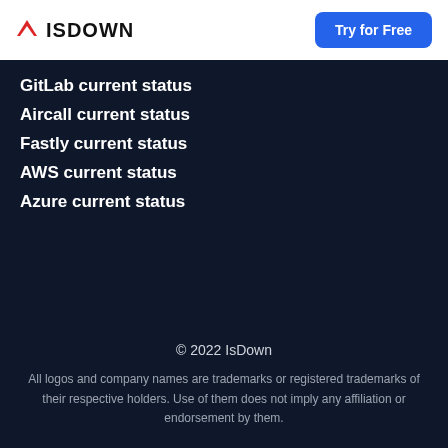ISDOWN | Try for Free
GitLab current status
Aircall current status
Fastly current status
AWS current status
Azure current status
© 2022 IsDown

All logos and company names are trademarks or registered trademarks of their respective holders. Use of them does not imply any affiliation or endorsement by them.